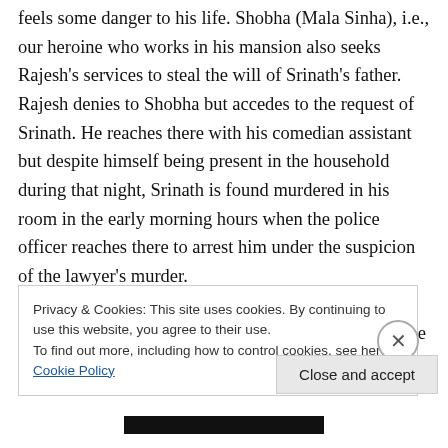Rajesh (Hari Shivdasani), who our hero saying that he feels some danger to his life. Shobha (Mala Sinha), i.e., our heroine who works in his mansion also seeks Rajesh's services to steal the will of Srinath's father. Rajesh denies to Shobha but accedes to the request of Srinath. He reaches there with his comedian assistant but despite himself being present in the household during that night, Srinath is found murdered in his room in the early morning hours when the police officer reaches there to arrest him under the suspicion of the lawyer's murder.
Now the investigation starts with Rajesh and the police
Privacy & Cookies: This site uses cookies. By continuing to use this website, you agree to their use.
To find out more, including how to control cookies, see here: Cookie Policy